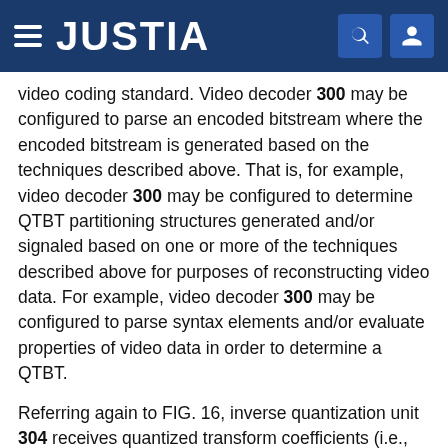JUSTIA
video coding standard. Video decoder 300 may be configured to parse an encoded bitstream where the encoded bitstream is generated based on the techniques described above. That is, for example, video decoder 300 may be configured to determine QTBT partitioning structures generated and/or signaled based on one or more of the techniques described above for purposes of reconstructing video data. For example, video decoder 300 may be configured to parse syntax elements and/or evaluate properties of video data in order to determine a QTBT.
Referring again to FIG. 16, inverse quantization unit 304 receives quantized transform coefficients (i.e., level values) and quantization parameter data from entropy decoding unit 302. Quantization parameter data may include any and all combinations of delta QP values